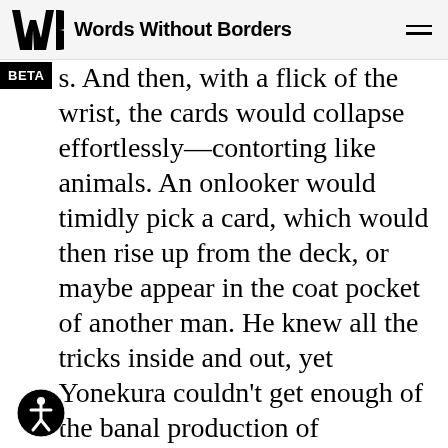Words Without Borders
s. And then, with a flick of the wrist, the cards would collapse effortlessly—contorting like animals. An onlooker would timidly pick a card, which would then rise up from the deck, or maybe appear in the coat pocket of another man. He knew all the tricks inside and out, yet Yonekura couldn't get enough of the banal production of cigarettes and coins. Why did these things excite him the way they did? Still, Yonekura was always careful to wear a blank expression, to put on an air of indifference as he ked just behind the wall of spectators ircling the magician.